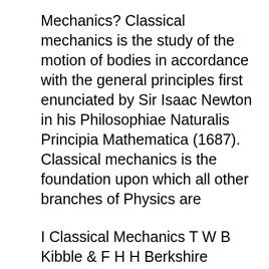Mechanics? Classical mechanics is the study of the motion of bodies in accordance with the general principles first enunciated by Sir Isaac Newton in his Philosophiae Naturalis Principia Mathematica (1687). Classical mechanics is the foundation upon which all other branches of Physics are
I Classical Mechanics T W B Kibble & F H H Berkshire (Imperial College Press) 7. 1.3 What is Classical Mechanics? Classical mechanics is the study of the motion of bodies in accordance with the general principles first enunciated by Sir Isaac Newton in his Philosophiae Naturalis Principia Mathematica (1687). Classical mechanics is the foundation